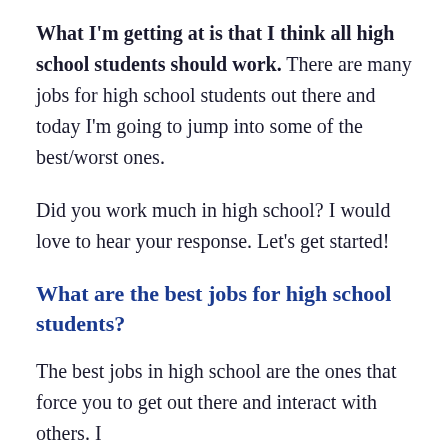What I'm getting at is that I think all high school students should work. There are many jobs for high school students out there and today I'm going to jump into some of the best/worst ones.
Did you work much in high school? I would love to hear your response. Let's get started!
What are the best jobs for high school students?
The best jobs in high school are the ones that force you to get out there and interact with others. I